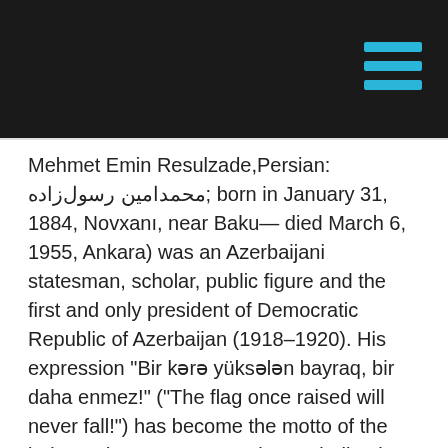[Navigation header bar with hamburger menu icon]
Mehmet Emin Resulzade,Persian: محمدامین رسولزاده; born in January 31, 1884, Novxanı, near Baku— died March 6, 1955, Ankara) was an Azerbaijani statesman, scholar, public figure and the first and only president of Democratic Republic of Azerbaijan (1918–1920). His expression "Bir kərə yüksələn bayraq, bir daha enməz!" ("The flag once raised will never fall!") has become the motto of the independence movement in Azerbaijan in the 20th century.
Rasulzade was commemorated by many memorials throughout Azerbaijan, such as Baku State University, which was named after his honor. Rasulzade was